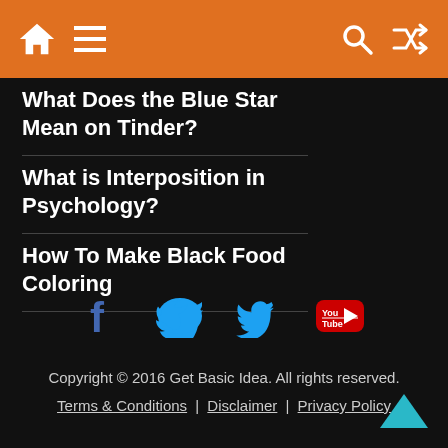Navigation bar with home, menu, search, and shuffle icons
What Does the Blue Star Mean on Tinder?
What is Interposition in Psychology?
How To Make Black Food Coloring
[Figure (other): Social media icons: Facebook (blue f), Twitter (blue bird), YouTube (red/white logo)]
Copyright © 2016 Get Basic Idea. All rights reserved. Terms & Conditions | Disclaimer | Privacy Policy